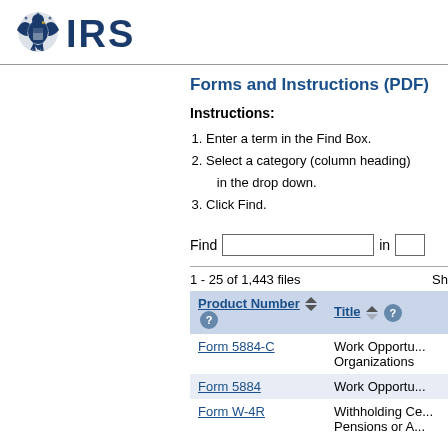[Figure (logo): IRS eagle logo with text IRS in navy blue]
Forms and Instructions (PDF)
Instructions:
Enter a term in the Find Box.
Select a category (column heading) in the drop down.
Click Find.
Find  [input box]  in  [dropdown]
1 - 25 of 1,443 files    Sh
| Product Number | Title |
| --- | --- |
| Form 5884-C | Work Opportu... Organizations |
| Form 5884 | Work Opportu... |
| Form W-4R | Withholding Ce... Pensions or A... |